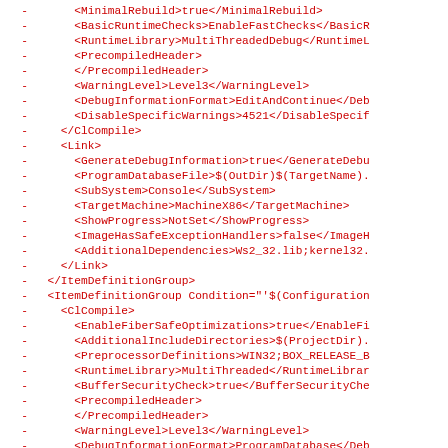- <MinimalRebuild>true</MinimalRebuild>
- <BasicRuntimeChecks>EnableFastChecks</BasicR
- <RuntimeLibrary>MultiThreadedDebug</RuntimeL
- <PrecompiledHeader>
- </PrecompiledHeader>
- <WarningLevel>Level3</WarningLevel>
- <DebugInformationFormat>EditAndContinue</Deb
- <DisableSpecificWarnings>4521</DisableSpecif
- </ClCompile>
- <Link>
- <GenerateDebugInformation>true</GenerateDebu
- <ProgramDatabaseFile>$(OutDir)$(TargetName).
- <SubSystem>Console</SubSystem>
- <TargetMachine>MachineX86</TargetMachine>
- <ShowProgress>NotSet</ShowProgress>
- <ImageHasSafeExceptionHandlers>false</ImageH
- <AdditionalDependencies>Ws2_32.lib;kernel32.
- </Link>
- </ItemDefinitionGroup>
- <ItemDefinitionGroup Condition="'$(Configuration
- <ClCompile>
- <EnableFiberSafeOptimizations>true</EnableFi
- <AdditionalIncludeDirectories>$(ProjectDir).
- <PreprocessorDefinitions>WIN32;BOX_RELEASE_B
- <RuntimeLibrary>MultiThreaded</RuntimeLibrar
- <BufferSecurityCheck>true</BufferSecurityChe
- <PrecompiledHeader>
- </PrecompiledHeader>
- <WarningLevel>Level3</WarningLevel>
- <DebugInformationFormat>ProgramDatabase</Deb